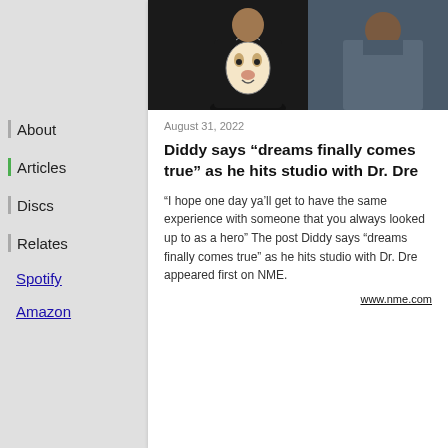[Figure (photo): Photo of two people, dark background, one wearing a tiger graphic sweater with necklace, other in grey suit jacket]
August 31, 2022
Diddy says “dreams finally comes true” as he hits studio with Dr. Dre
“I hope one day ya’ll get to have the same experience with someone that you always looked up to as a hero” The post Diddy says “dreams finally comes true” as he hits studio with Dr. Dre appeared first on NME.
www.nme.com
About
Articles
Discs
Relates
Spotify
Amazon